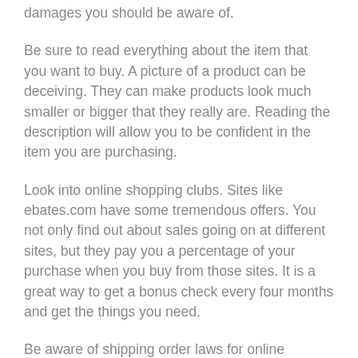damages you should be aware of.
Be sure to read everything about the item that you want to buy. A picture of a product can be deceiving. They can make products look much smaller or bigger that they really are. Reading the description will allow you to be confident in the item you are purchasing.
Look into online shopping clubs. Sites like ebates.com have some tremendous offers. You not only find out about sales going on at different sites, but they pay you a percentage of your purchase when you buy from those sites. It is a great way to get a bonus check every four months and get the things you need.
Be aware of shipping order laws for online merchants. The company is supposed to send your order within the time frame listed in its ad. By law, they have 30